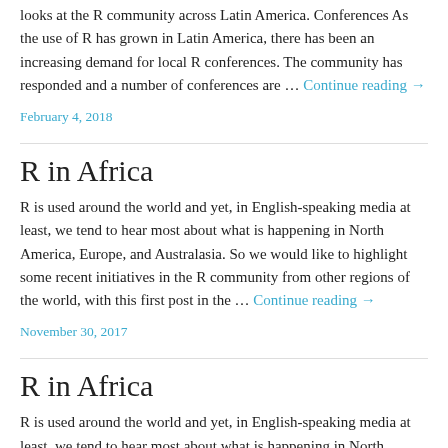looks at the R community across Latin America. Conferences As the use of R has grown in Latin America, there has been an increasing demand for local R conferences. The community has responded and a number of conferences are … Continue reading →
February 4, 2018
R in Africa
R is used around the world and yet, in English-speaking media at least, we tend to hear most about what is happening in North America, Europe, and Australasia. So we would like to highlight some recent initiatives in the R community from other regions of the world, with this first post in the … Continue reading →
November 30, 2017
R in Africa
R is used around the world and yet, in English-speaking media at least, we tend to hear most about what is happening in North America,